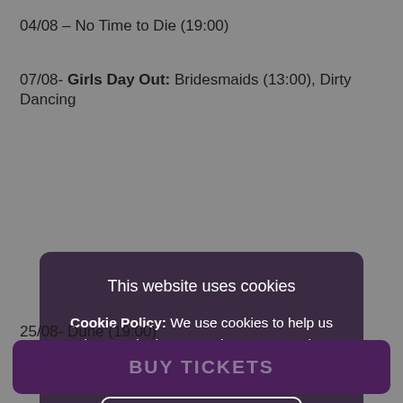04/08 – No Time to Die (19:00)
07/08- Girls Day Out: Bridesmaids (13:00), Dirty Dancing
[Figure (screenshot): Cookie consent overlay dialog with dark purple background. Contains title 'This website uses cookies', body text explaining cookie policy with a 'Find out more.' link in teal, a white-bordered 'I ACCEPT' button, and a teal 'I DO NOT ACCEPT' text link below.]
25/08- Dune (19:00)
BUY TICKETS